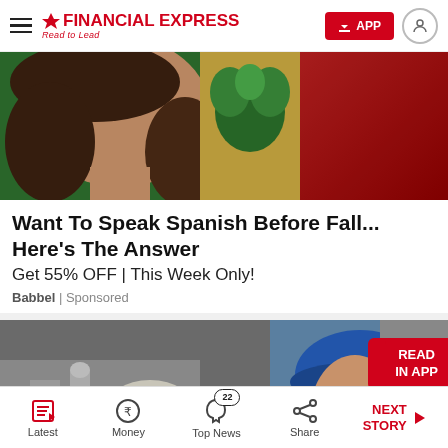FINANCIAL EXPRESS — Read to Lead
[Figure (photo): Advertisement image showing a woman's face with Mexican flag colors (green, gold, red) in the background]
Want To Speak Spanish Before Fall... Here's The Answer
Get 55% OFF | This Week Only!
Babbel | Sponsored
[Figure (photo): Photo of a construction worker wearing a blue hard hat in a damaged/industrial setting, with a red 'READ IN APP' badge overlay]
Latest | Money | Top News (22) | Share | NEXT STORY